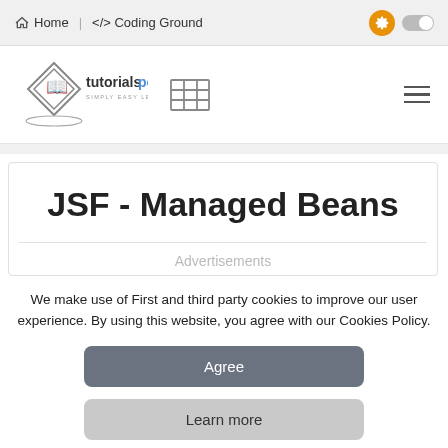Home   </> Coding Ground
[Figure (logo): tutorialspoint logo with diamond shape and text 'tutorialspoint SIMPLY EASY LEARNING', table grid icon, and hamburger menu]
JSF - Managed Beans
Advertisements
We make use of First and third party cookies to improve our user experience. By using this website, you agree with our Cookies Policy.
Agree
Learn more